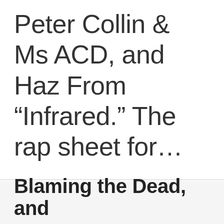Peter Collin & Ms ACD, and Haz From “Infrared.” The rap sheet for…
Blaming the Dead, and